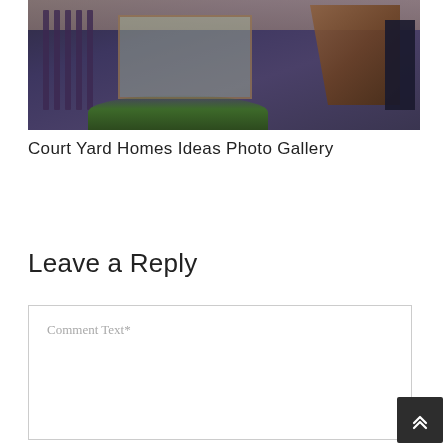[Figure (photo): Architectural photo of a courtyard home interior showing wooden stairs on the right, floor-to-ceiling windows in the center with greenery visible, dark vertical bars on the left, and an overhead skylight with wooden ceiling elements. Dark moody tones with warm wood accents.]
Court Yard Homes Ideas Photo Gallery
Leave a Reply
Comment Text*